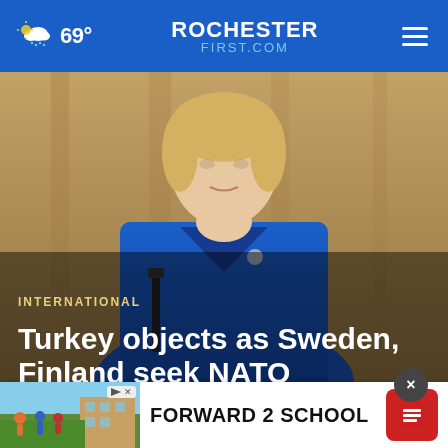69° ROCHESTER FIRST.COM
[Figure (photo): A blonde woman in a blue blazer speaking at a podium, with a wooden background. A microphone is visible to her left.]
INTERNATIONAL
Turkey objects as Sweden, Finland seek NATO me…
[Figure (other): Advertisement banner reading FORWARD 2 SCHOOL with a thumbnail image of children and a school building, and a red play button.]